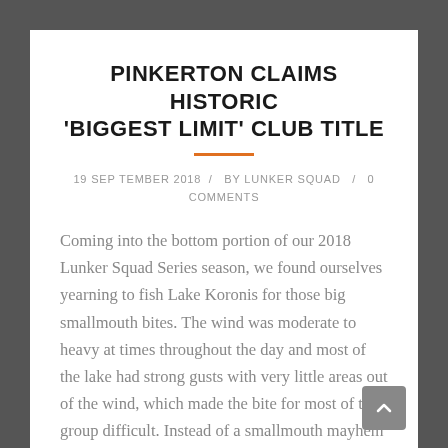PINKERTON CLAIMS HISTORIC 'BIGGEST LIMIT' CLUB TITLE
19 SEPTEMBER 2018 / BY LUNKER SQUAD / 0 COMMENTS
Coming into the bottom portion of our 2018 Lunker Squad Series season, we found ourselves yearning to fish Lake Koronis for those big smallmouth bites. The wind was moderate to heavy at times throughout the day and most of the lake had strong gusts with very little areas out of the wind, which made the bite for most of the group difficult. Instead of a smallmouth mayhem – we all figured was going to happen, realistically only one person actually laid the